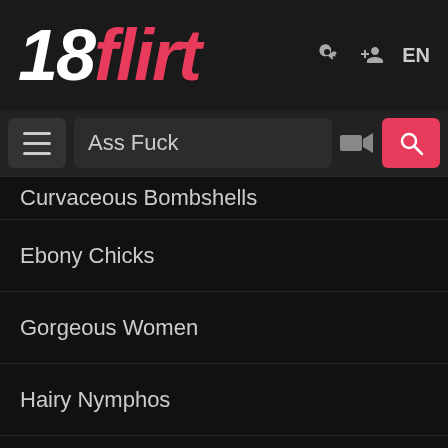18flirt
Ass Fuck
Curvaceous Bombshells
Ebony Chicks
Gorgeous Women
Hairy Nymphos
Hardcore Shows
Huge Tit Princesses
Latina Putas
MILFs and Matures
Redhead Models